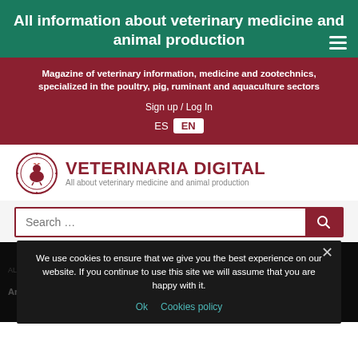All information about veterinary medicine and animal production
Magazine of veterinary information, medicine and zootechnics, specialized in the poultry, pig, ruminant and aquaculture sectors
Sign up / Log In
ES  EN
[Figure (logo): Veterinaria Digital logo with circular emblem and text: VETERINARIA DIGITAL - All about veterinary medicine and animal production]
Search ...
Advanced search
Diatom [tag cloud words]
Articles / Immunostimulants, Pathology, Poultry Farming
We use cookies to ensure that we give you the best experience on our website. If you continue to use this site we will assume that you are happy with it.
Ok  Cookies policy